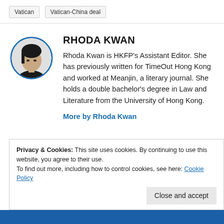Vatican
Vatican-China deal
RHODA KWAN
[Figure (photo): Circular portrait photo of Rhoda Kwan with blue border]
Rhoda Kwan is HKFP's Assistant Editor. She has previously written for TimeOut Hong Kong and worked at Meanjin, a literary journal. She holds a double bachelor's degree in Law and Literature from the University of Hong Kong.
More by Rhoda Kwan
Privacy & Cookies: This site uses cookies. By continuing to use this website, you agree to their use.
To find out more, including how to control cookies, see here: Cookie Policy
Close and accept